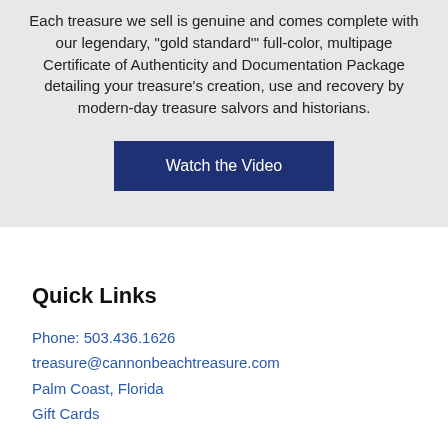Each treasure we sell is genuine and comes complete with our legendary, "gold standard'" full-color, multipage Certificate of Authenticity and Documentation Package detailing your treasure's creation, use and recovery by modern-day treasure salvors and historians.
[Figure (other): Dark blue button with white text reading 'Watch the Video']
Quick Links
Phone: 503.436.1626
treasure@cannonbeachtreasure.com
Palm Coast, Florida
Gift Cards